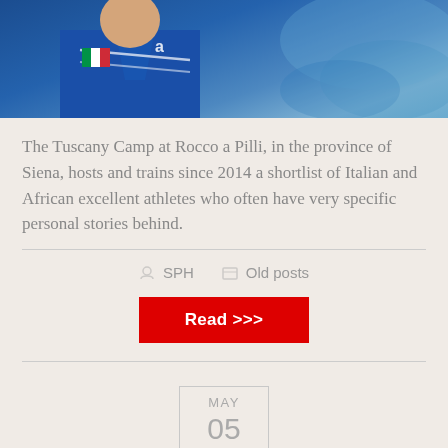[Figure (photo): Photo of a person wearing a blue Asics jacket with Italian flag patch, cropped to show torso and head partially visible at top]
The Tuscany Camp at Rocco a Pilli, in the province of Siena, hosts and trains since 2014 a shortlist of Italian and African excellent athletes who often have very specific personal stories behind.
SPH   Old posts
Read >>>
MAY 05
Tuscany Camp at Rocco a P...